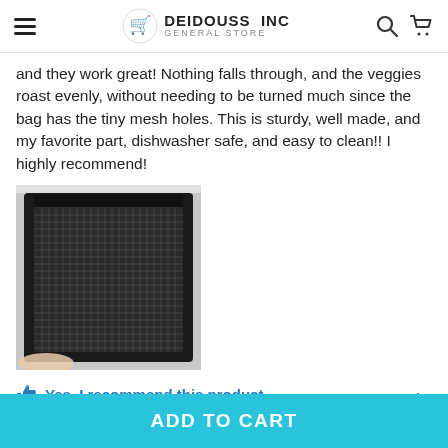DEIDOUSS INC GENERAL STORE
and they work great! Nothing falls through, and the veggies roast evenly, without needing to be turned much since the bag has the tiny mesh holes. This is sturdy, well made, and my favorite part, dishwasher safe, and easy to clean!! I highly recommend!
[Figure (photo): A hand holding a rectangular black mesh grill/roasting basket with fine wire mesh, photographed against a light background.]
Yes, I recommend this product
TOP
ADD TO CART